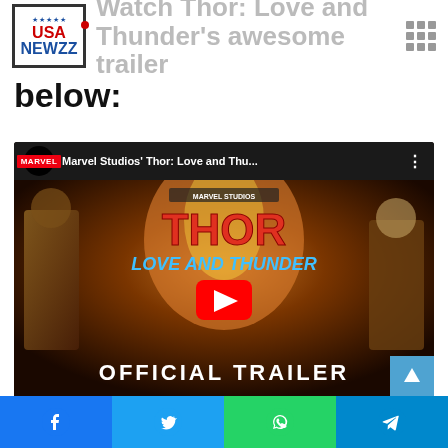Watch Thor: Love and Thunder's awesome trailer below:
[Figure (screenshot): YouTube video embed showing Marvel Studios' Thor: Love and Thunder official trailer with play button overlay]
[Figure (other): Social share bar with Facebook, Twitter, WhatsApp, and Telegram buttons]